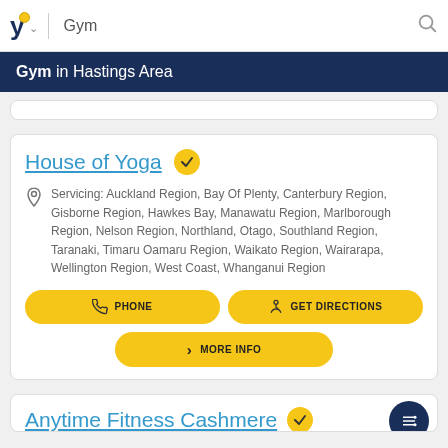Gym
Gym in Hastings Area
House of Yoga
Servicing: Auckland Region, Bay Of Plenty, Canterbury Region, Gisborne Region, Hawkes Bay, Manawatu Region, Marlborough Region, Nelson Region, Northland, Otago, Southland Region, Taranaki, Timaru Oamaru Region, Waikato Region, Wairarapa, Wellington Region, West Coast, Whanganui Region
PHONE
GET DIRECTIONS
MORE INFO
Anytime Fitness Cashmere